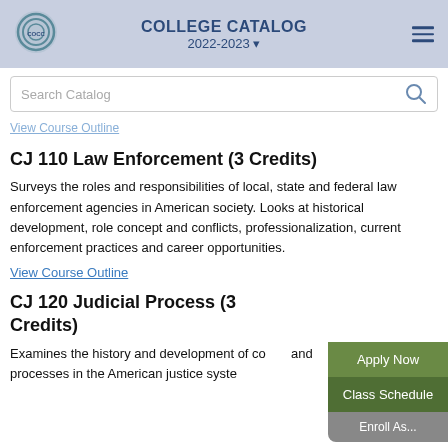COLLEGE CATALOG 2022-2023
View Course Outline
CJ 110 Law Enforcement (3 Credits)
Surveys the roles and responsibilities of local, state and federal law enforcement agencies in American society. Looks at historical development, role concept and conflicts, professionalization, current enforcement practices and career opportunities.
View Course Outline
CJ 120 Judicial Process (3 Credits)
Examines the history and development of courts and processes in the American justice system.